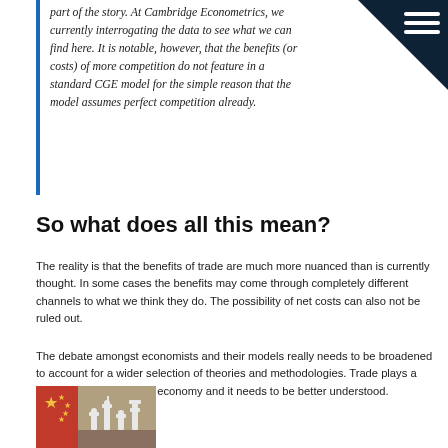part of the story. At Cambridge Econometrics, we currently interrogating the data to see what we can find here. It is notable, however, that the benefits (or costs) of more competition do not feature in a standard CGE model for the simple reason that the model assumes perfect competition already.
So what does all this mean?
The reality is that the benefits of trade are much more nuanced than is currently thought. In some cases the benefits may come through completely different channels to what we think they do. The possibility of net costs can also not be ruled out.
The debate amongst economists and their models really needs to be broadened to account for a wider selection of theories and methodologies. Trade plays a huge role in the modern economy and it needs to be better understood.
[Figure (photo): Photo showing a Chinese flag and chess pieces on a board, suggesting trade competition theme]